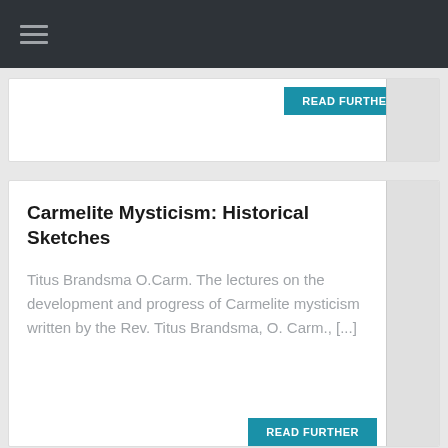☰ (navigation menu)
READ FURTHER
Carmelite Mysticism: Historical Sketches
Titus Brandsma O.Carm. The lectures on the development and progress of Carmelite mysticism written by the Rev. Titus Brandsma, O. Carm., [...]
READ FURTHER